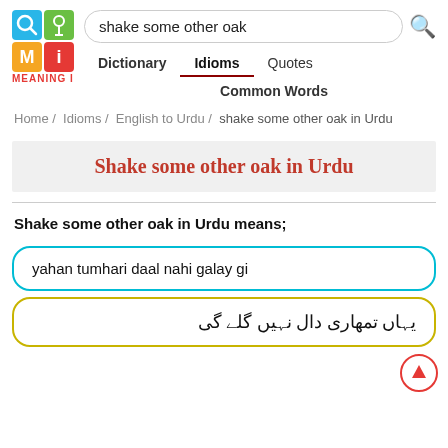[Figure (logo): Meaning In app logo with magnifier, pin, M and i icons in blue, green, orange, red grid]
shake some other oak
Dictionary   Idioms   Quotes
Common Words
MEANING IN
Home / Idioms / English to Urdu / shake some other oak in Urdu
Shake some other oak in Urdu
Shake some other oak in Urdu means;
yahan tumhari daal nahi galay gi
یہاں تمھاری دال نہیں گلے گی